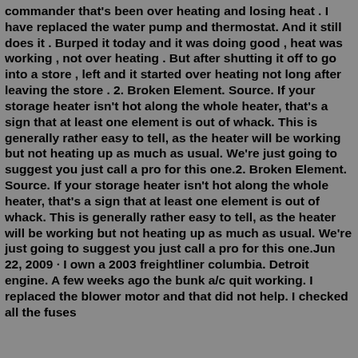commander that's been over heating and losing heat . I have replaced the water pump and thermostat. And it still does it . Burped it today and it was doing good , heat was working , not over heating . But after shutting it off to go into a store , left and it started over heating not long after leaving the store . 2. Broken Element. Source. If your storage heater isn't hot along the whole heater, that's a sign that at least one element is out of whack. This is generally rather easy to tell, as the heater will be working but not heating up as much as usual. We're just going to suggest you just call a pro for this one.2. Broken Element. Source. If your storage heater isn't hot along the whole heater, that's a sign that at least one element is out of whack. This is generally rather easy to tell, as the heater will be working but not heating up as much as usual. We're just going to suggest you just call a pro for this one.Jun 22, 2009 · I own a 2003 freightliner columbia. Detroit engine. A few weeks ago the bunk a/c quit working. I replaced the blower motor and that did not help. I checked all the fuses